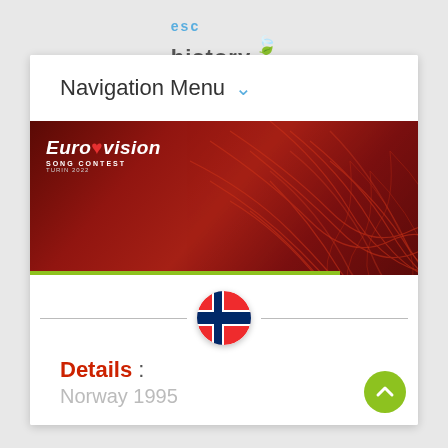esc history
Navigation Menu
[Figure (illustration): Eurovision Song Contest Turin 2022 banner with dark red background and decorative wave patterns, showing Eurovision logo and 'Norway 1995' title on a green box]
[Figure (illustration): Norwegian flag circular icon centered between two horizontal divider lines]
Details :
Norway 1995